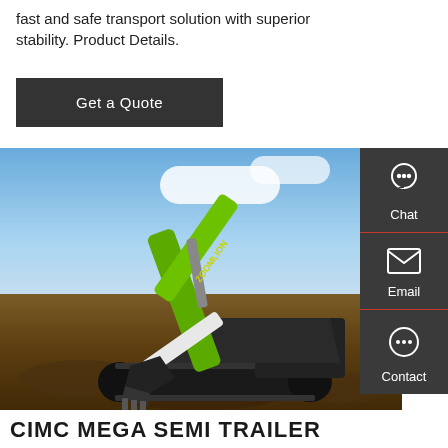fast and safe transport solution with superior stability. Product Details.
Get a Quote
[Figure (photo): Large green Zoomlion excavator with extended boom arm, digging in a rocky quarry with blue sky background.]
CIMC MEGA SEMI TRAILER